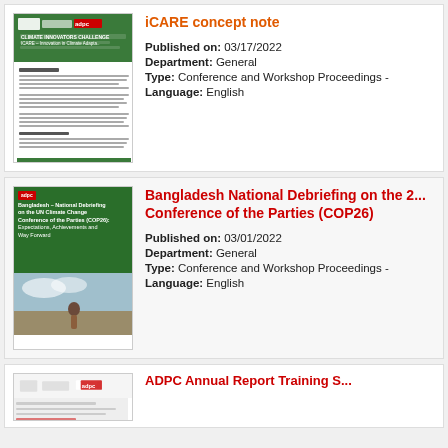[Figure (illustration): Thumbnail of iCARE concept note document cover with green header and body text lines]
iCARE concept note
Published on: 03/17/2022
Department: General
Type: Conference and Workshop Proceedings -
Language: English
[Figure (illustration): Thumbnail of Bangladesh National Debriefing on the UN Climate Change Conference of the Parties (COP26) document cover with green background and photo]
Bangladesh National Debriefing on the 2... Conference of the Parties (COP26)
Published on: 03/01/2022
Department: General
Type: Conference and Workshop Proceedings -
Language: English
[Figure (illustration): Partial thumbnail of a third document at the bottom of the page]
ADPC Annual Report Training S...